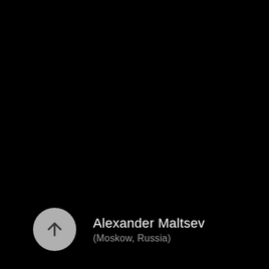[Figure (photo): Dark/black background taking up majority of the page]
[Figure (illustration): Gray circular avatar icon with an upward arrow symbol]
Alexander Maltsev
(Moskow, Russia)